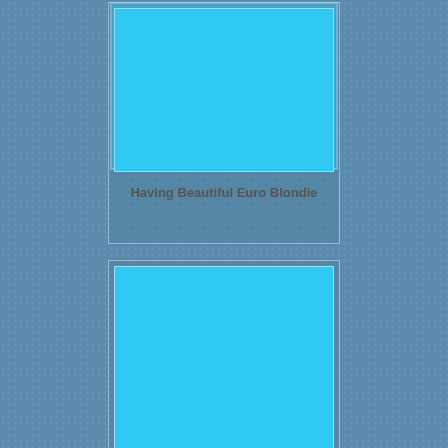[Figure (photo): Placeholder image card - blue rectangle thumbnail for 'Having Beautiful Euro Blondie']
Having Beautiful Euro Blondie
[Figure (photo): Placeholder image card - blue rectangle thumbnail for 'Ebony Booty Beauty Pussyfucked..']
Ebony Booty Beauty Pussyfucked..
[Figure (photo): Placeholder image card - blue rectangle thumbnail (partial, third card)]